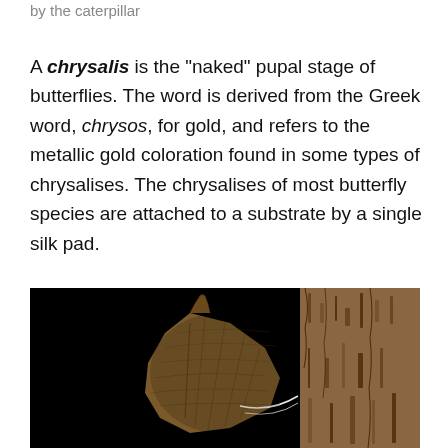by the caterpillar
A chrysalis is the “naked” pupal stage of butterflies. The word is derived from the Greek word, chrysos, for gold, and refers to the metallic gold coloration found in some types of chrysalises. The chrysalises of most butterfly species are attached to a substrate by a single silk pad.
[Figure (photo): Close-up photograph of a butterfly chrysalis attached to a tree trunk by a silk pad, against a dark/black background. The chrysalis appears leaf-like and brown/tan in color, with visible veining texture. A white silk thread connects it to the rough bark of the tree.]